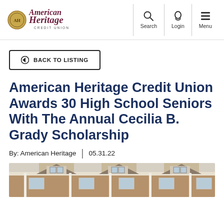American Heritage Credit Union — Search | Login | Menu
← BACK TO LISTING
American Heritage Credit Union Awards 30 High School Seniors With The Annual Cecilia B. Grady Scholarship
By: American Heritage | 05.31.22
[Figure (photo): Exterior photo of a house with dormers and white trim, partially visible at bottom of page]